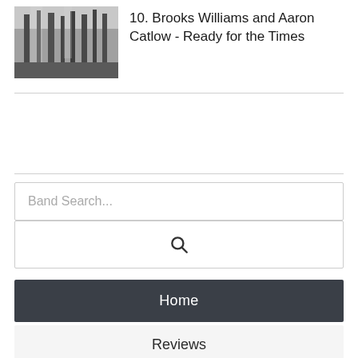[Figure (photo): Black and white photo of a forest/trees scene]
10. Brooks Williams and Aaron Catlow - Ready for the Times
Band Search...
Home
Reviews
Interviews
Features